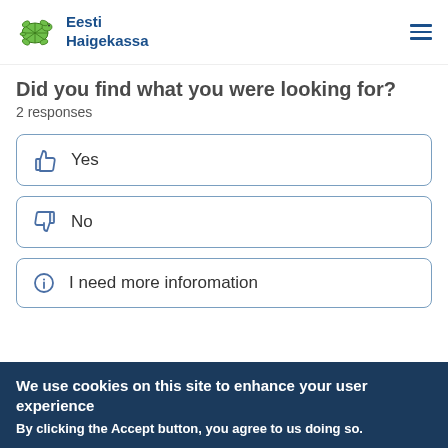Eesti Haigekassa
Did you find what you were looking for?
2 responses
Yes
No
I need more inforomation
We use cookies on this site to enhance your user experience
By clicking the Accept button, you agree to us doing so.